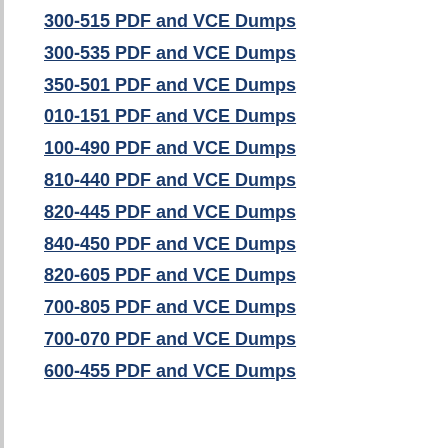300-515 PDF and VCE Dumps
300-535 PDF and VCE Dumps
350-501 PDF and VCE Dumps
010-151 PDF and VCE Dumps
100-490 PDF and VCE Dumps
810-440 PDF and VCE Dumps
820-445 PDF and VCE Dumps
840-450 PDF and VCE Dumps
820-605 PDF and VCE Dumps
700-805 PDF and VCE Dumps
700-070 PDF and VCE Dumps
600-455 PDF and VCE Dumps